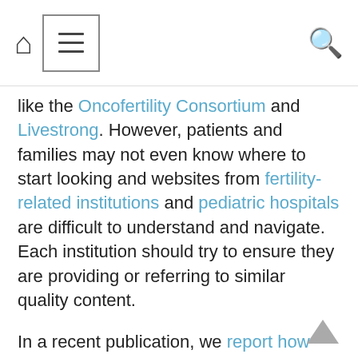[home icon] [menu icon] [search icon]
like the Oncofertility Consortium and Livestrong. However, patients and families may not even know where to start looking and websites from fertility-related institutions and pediatric hospitals are difficult to understand and navigate. Each institution should try to ensure they are providing or referring to similar quality content.
In a recent publication, we report how readily this information is available on the websites of the top 50 pediatric cancer programs in the United States. We selected programs based on national hospital rankings and carefully queried their institutional websites, looking for resources on oncofertility.
The results were disconcerting. Two thirds of